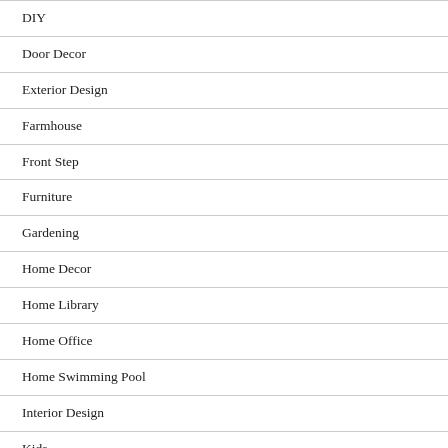DIY
Door Decor
Exterior Design
Farmhouse
Front Step
Furniture
Gardening
Home Decor
Home Library
Home Office
Home Swimming Pool
Interior Design
Kids